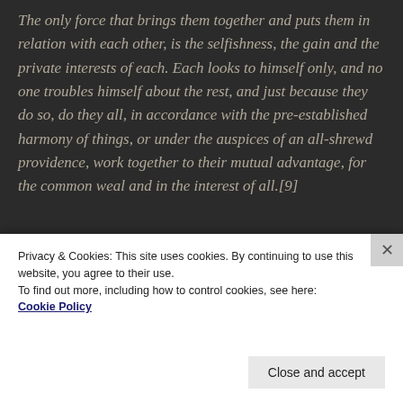The only force that brings them together and puts them in relation with each other, is the selfishness, the gain and the private interests of each. Each looks to himself only, and no one troubles himself about the rest, and just because they do so, do they all, in accordance with the pre-established harmony of things, or under the auspices of an all-shrewd providence, work together to their mutual advantage, for the common weal and in the interest of all.[9]
[Figure (photo): Partially visible image area showing two images side by side - a light beige/tan image on the left and a darker brownish image on the right, with a colored bar strip at the bottom.]
Privacy & Cookies: This site uses cookies. By continuing to use this website, you agree to their use.
To find out more, including how to control cookies, see here:
Cookie Policy
Close and accept